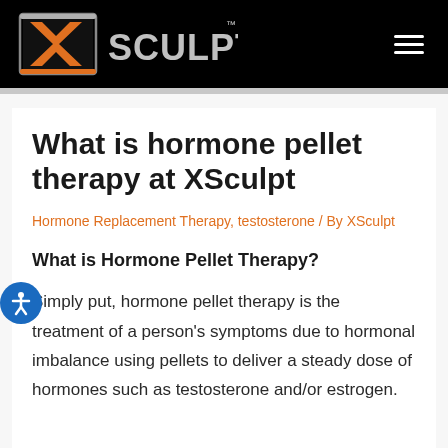[Figure (logo): XSculpt logo on black navigation bar with orange X icon and silver SCULPT text, plus hamburger menu icon on right]
What is hormone pellet therapy at XSculpt
Hormone Replacement Therapy, testosterone / By XSculpt
What is Hormone Pellet Therapy?
Simply put, hormone pellet therapy is the treatment of a person's symptoms due to hormonal imbalance using pellets to deliver a steady dose of hormones such as testosterone and/or estrogen.